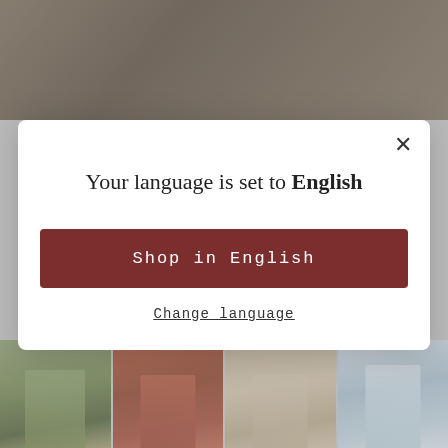[Figure (photo): Top banner: two side-by-side photos. Left shows white fabric draped over sandy/rocky texture. Right shows dark rocky/textured surface.]
[Figure (screenshot): Modal dialog with white background showing language selection. Contains close X button, title 'Your language is set to English', a dark red button 'Shop in English', and an underlined link 'Change language'.]
Your language is set to English
Shop in English
Change language
[Figure (photo): Bottom strip of four thumbnail photos showing women wearing dresses: olive green dress in field, red/rust dress outdoors, floral print dress outdoors, blue polka-dot dress with plants.]